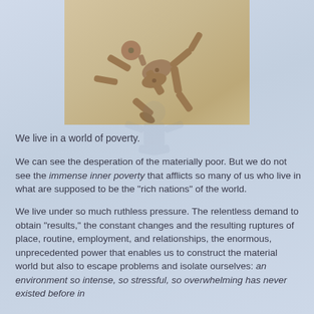[Figure (photo): Photograph of a wooden articulated mannequin figure lying on a light wooden floor surface, viewed from above. The jointed wooden figure appears to be lying face down or in a collapsed pose.]
We live in a world of poverty.
We can see the desperation of the materially poor. But we do not see the immense inner poverty that afflicts so many of us who live in what are supposed to be the "rich nations" of the world.
We live under so much ruthless pressure. The relentless demand to obtain "results," the constant changes and the resulting ruptures of place, routine, employment, and relationships, the enormous, unprecedented power that enables us to construct the material world but also to escape problems and isolate ourselves: an environment so intense, so stressful, so overwhelming has never existed before in